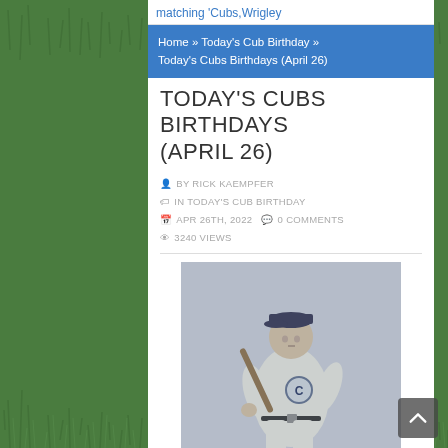matching 'Cubs,Wrigley'
Home » Today's Cub Birthday » Today's Cubs Birthdays (April 26)
TODAY'S CUBS BIRTHDAYS (APRIL 26)
BY RICK KAEMPFER
IN TODAY'S CUB BIRTHDAY
APR 26TH, 2022   0 COMMENTS
3240 VIEWS
[Figure (photo): Black and white photo of a Chicago Cubs baseball player in uniform holding a bat, wearing a Cubs cap and jersey with the Cubs logo visible]